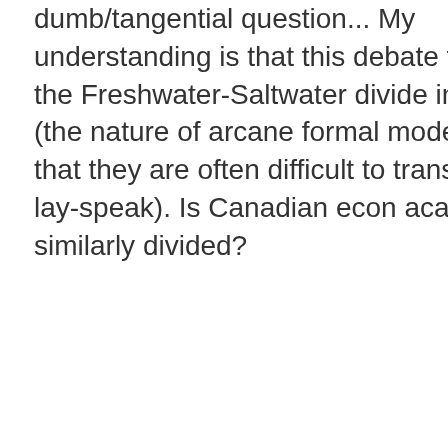dumb/tangential question... My understanding is that this debate ties into the Freshwater-Saltwater divide in the US (the nature of arcane formal models being that they are often difficult to translate into lay-speak). Is Canadian econ academia similarly divided?
Posted by: hosertohoosier | June 29, 2010 at 04:04 PM
Scott Sumner's view that the Fed caused the recession by having too tight monetary policy